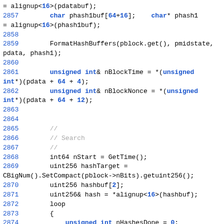[Figure (screenshot): Source code snippet in C++ showing Bitcoin mining code with line numbers 2857-2878, featuring keywords, numeric literals, and comments highlighted in blue]